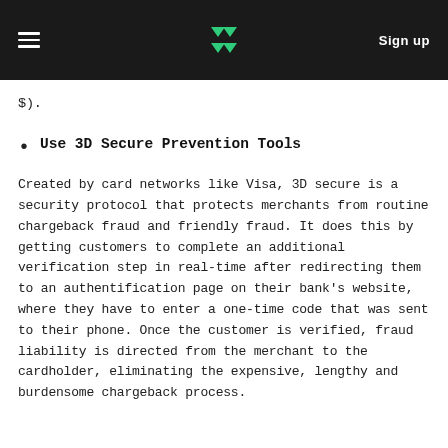Sign up
$).
Use 3D Secure Prevention Tools
Created by card networks like Visa, 3D secure is a security protocol that protects merchants from routine chargeback fraud and friendly fraud. It does this by getting customers to complete an additional verification step in real-time after redirecting them to an authentification page on their bank's website, where they have to enter a one-time code that was sent to their phone. Once the customer is verified, fraud liability is directed from the merchant to the cardholder, eliminating the expensive, lengthy and burdensome chargeback process.